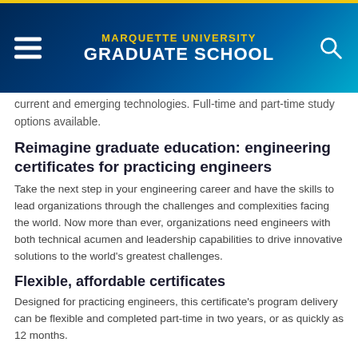MARQUETTE UNIVERSITY GRADUATE SCHOOL
current and emerging technologies. Full-time and part-time study options available.
Reimagine graduate education: engineering certificates for practicing engineers
Take the next step in your engineering career and have the skills to lead organizations through the challenges and complexities facing the world. Now more than ever, organizations need engineers with both technical acumen and leadership capabilities to drive innovative solutions to the world's greatest challenges.
Flexible, affordable certificates
Designed for practicing engineers, this certificate's program delivery can be flexible and completed part-time in two years, or as quickly as 12 months.